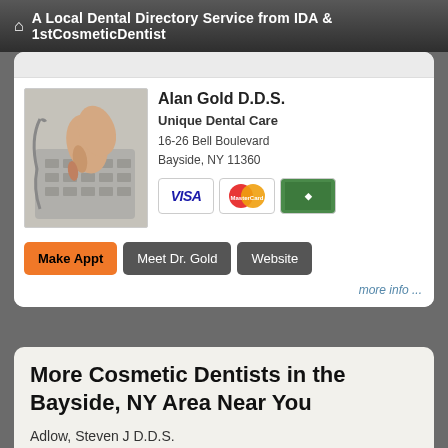A Local Dental Directory Service from IDA & 1stCosmeticDentist
Alan Gold D.D.S.
Unique Dental Care
16-26 Bell Boulevard
Bayside, NY 11360
[Figure (photo): Hand typing on a telephone keypad]
Make Appt   Meet Dr. Gold   Website
more info ...
More Cosmetic Dentists in the Bayside, NY Area Near You
Adlow, Steven J D.D.S.
1 Barstow Rd # P4
Great Neck, NY 11021-2525